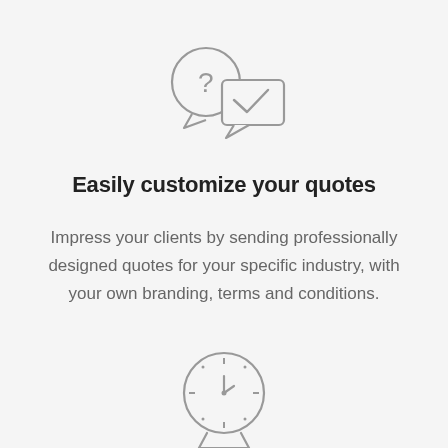[Figure (illustration): Icon showing a speech bubble with a question mark overlapping a square chat bubble with a checkmark, drawn in light gray outline style]
Easily customize your quotes
Impress your clients by sending professionally designed quotes for your specific industry, with your own branding, terms and conditions.
[Figure (illustration): Icon showing a clock face with tick marks and hands, partially visible at the bottom of the page, drawn in light gray outline style]